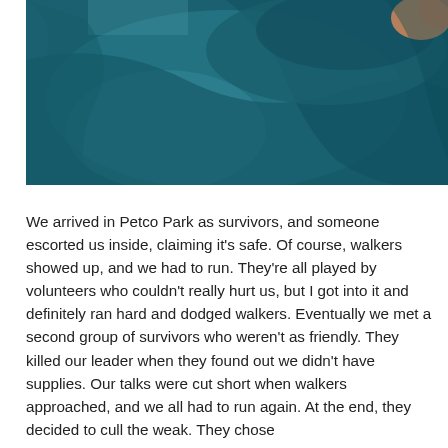[Figure (photo): Close-up photo of a person wearing a teal/blue garment, showing the back/shoulder area. A small portion of skin (face/neck area) is visible at the top right.]
We arrived in Petco Park as survivors, and someone escorted us inside, claiming it's safe. Of course, walkers showed up, and we had to run. They're all played by volunteers who couldn't really hurt us, but I got into it and definitely ran hard and dodged walkers. Eventually we met a second group of survivors who weren't as friendly. They killed our leader when they found out we didn't have supplies. Our talks were cut short when walkers approached, and we all had to run again. At the end, they decided to cull the weak. They chose